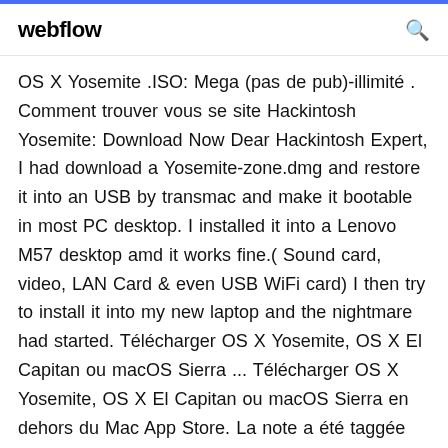webflow
OS X Yosemite .ISO: Mega (pas de pub)-illimité . Comment trouver vous se site Hackintosh Yosemite: Download Now Dear Hackintosh Expert, I had download a Yosemite-zone.dmg and restore it into an USB by transmac and make it bootable in most PC desktop. I installed it into a Lenovo M57 desktop amd it works fine.( Sound card, video, LAN Card & even USB WiFi card) I then try to install it into my new laptop and the nightmare had started. Télécharger OS X Yosemite, OS X El Capitan ou macOS Sierra ... Télécharger OS X Yosemite, OS X El Capitan ou macOS Sierra en dehors du Mac App Store. La note a été taggée macOS, macOS Sierra, OS X El Capitan, OS X Yosemite. Posté le 13/11/2019